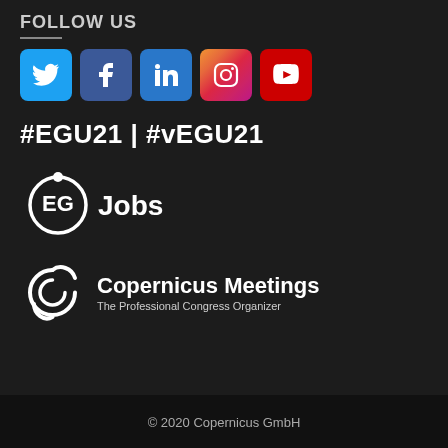FOLLOW US
[Figure (illustration): Row of 5 social media icons: Twitter (blue bird), Facebook (blue f), LinkedIn (blue in), Instagram (gradient camera), YouTube (red play button)]
#EGU21 | #vEGU21
[Figure (logo): EGU Jobs logo — circular orbit icon with text 'EGU Jobs']
[Figure (logo): Copernicus Meetings logo — stylized C icon with text 'Copernicus Meetings' and subtitle 'The Professional Congress Organizer']
© 2020 Copernicus GmbH